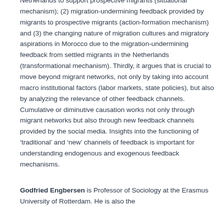Netherlands to support prospective migrants (situational mechanism); (2) migration-undermining feedback provided by migrants to prospective migrants (action-formation mechanism) and (3) the changing nature of migration cultures and migratory aspirations in Morocco due to the migration-undermining feedback from settled migrants in the Netherlands (transformational mechanism). Thirdly, it argues that is crucial to move beyond migrant networks, not only by taking into account macro institutional factors (labor markets, state policies), but also by analyzing the relevance of other feedback channels. Cumulative or diminutive causation works not only through migrant networks but also through new feedback channels provided by the social media. Insights into the functioning of 'traditional' and 'new' channels of feedback is important for understanding endogenous and exogenous feedback mechanisms.
Godfried Engbersen is Professor of Sociology at the Erasmus University of Rotterdam. He is also the